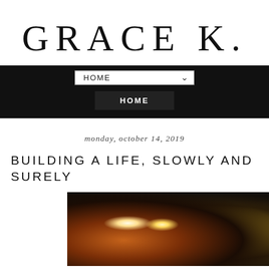GRACE K.
HOME | HOME
monday, october 14, 2019
BUILDING A LIFE, SLOWLY AND SURELY
[Figure (photo): Dark photo of decorative candles and objects on a surface, including lit candles in textured holders and a gold decorative item]